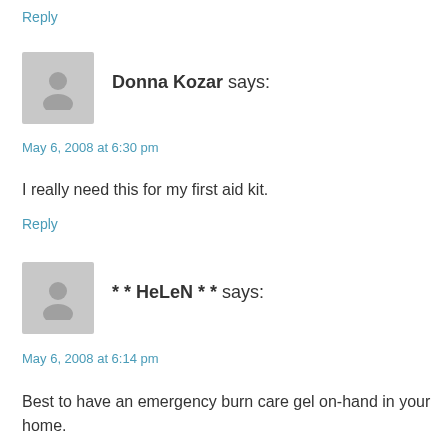Reply
Donna Kozar says:
May 6, 2008 at 6:30 pm
I really need this for my first aid kit.
Reply
* * HeLeN * * says:
May 6, 2008 at 6:14 pm
Best to have an emergency burn care gel on-hand in your home.